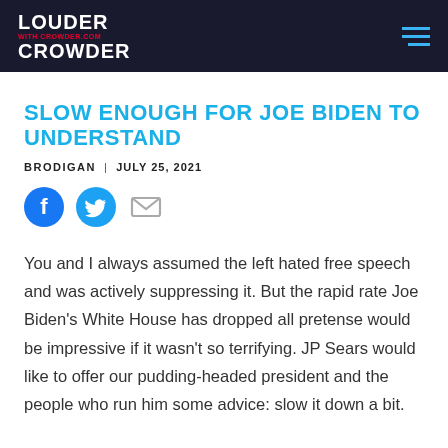Louder with Crowder
SLOW ENOUGH FOR JOE BIDEN TO UNDERSTAND
BRODIGAN | JULY 25, 2021
[Figure (infographic): Social media share icons: Facebook, Twitter, and Email]
You and I always assumed the left hated free speech and was actively suppressing it. But the rapid rate Joe Biden's White House has dropped all pretense would be impressive if it wasn't so terrifying. JP Sears would like to offer our pudding-headed president and the people who run him some advice: slow it down a bit.